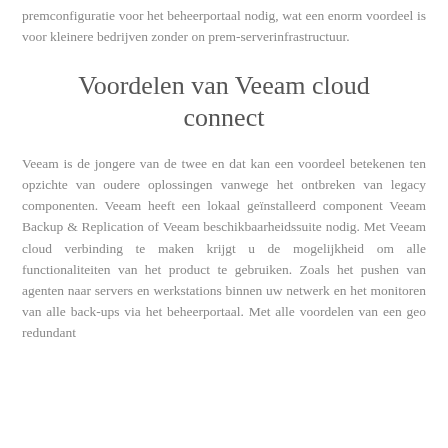premconfiguratie voor het beheerportaal nodig, wat een enorm voordeel is voor kleinere bedrijven zonder on prem-serverinfrastructuur.
Voordelen van Veeam cloud connect
Veeam is de jongere van de twee en dat kan een voordeel betekenen ten opzichte van oudere oplossingen vanwege het ontbreken van legacy componenten. Veeam heeft een lokaal geïnstalleerd component Veeam Backup & Replication of Veeam beschikbaarheidssuite nodig. Met Veeam cloud verbinding te maken krijgt u de mogelijkheid om alle functionaliteiten van het product te gebruiken. Zoals het pushen van agenten naar servers en werkstations binnen uw netwerk en het monitoren van alle back-ups via het beheerportaal. Met alle voordelen van een geo redundant